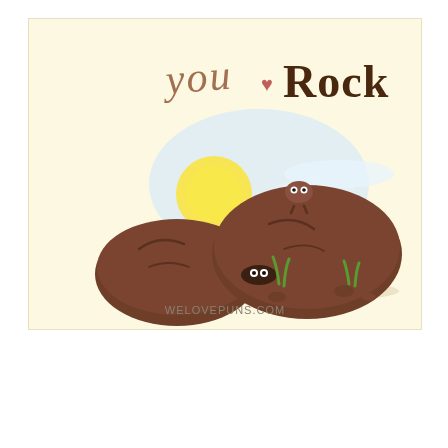[Figure (illustration): A humorous cartoon illustration with a cream/yellow background. At the top, handwritten-style text reads 'you ♥ Rock'. The scene shows large brown boulders with cartoon eyes peeking out from underneath, a small rock character standing on top of the large boulder, a yellow sun, light blue sky/clouds, small green grass blades, and scattered small rocks. At the bottom center it reads 'WELOVEPUNS.COM'.]